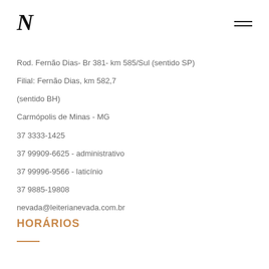N
Rod. Fernão Dias- Br 381- km 585/Sul (sentido SP)
Filial: Fernão Dias, km 582,7
(sentido BH)
Carmópolis de Minas - MG
37 3333-1425
37 99909-6625 - administrativo
37 99996-9566 - laticínio
37 9885-19808
nevada@leiterianevada.com.br
HORÁRIOS